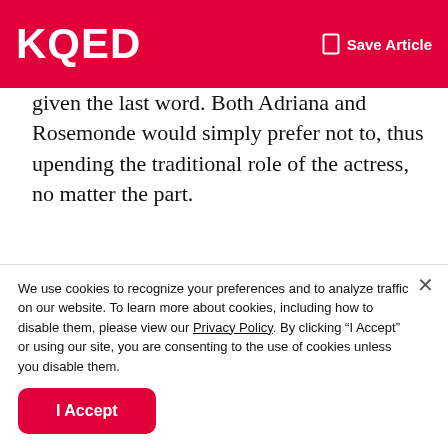KQED
given the last word. Both Adriana and Rosemonde would simply prefer not to, thus upending the traditional role of the actress, no matter the part.
[Figure (photo): A man with dark curly hair and glasses and a woman with blonde hair in an indoor setting with shelves and a framed picture on the wall in the background.]
We use cookies to recognize your preferences and to analyze traffic on our website. To learn more about cookies, including how to disable them, please view our Privacy Policy. By clicking “I Accept” or using our site, you are consenting to the use of cookies unless you disable them.